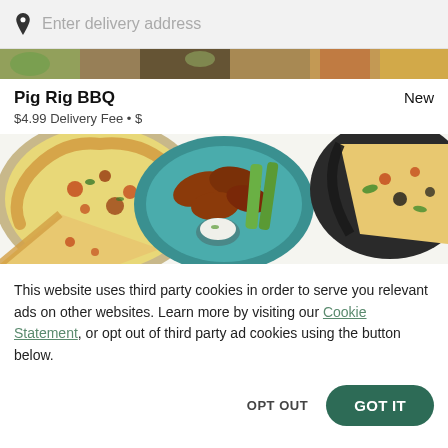Enter delivery address
[Figure (photo): Narrow horizontal strip showing food items at the top]
Pig Rig BBQ
$4.99 Delivery Fee • $
New
[Figure (photo): Food collage showing pizzas, chicken wings with celery and dipping sauce on a teal plate]
This website uses third party cookies in order to serve you relevant ads on other websites. Learn more by visiting our Cookie Statement, or opt out of third party ad cookies using the button below.
OPT OUT
GOT IT